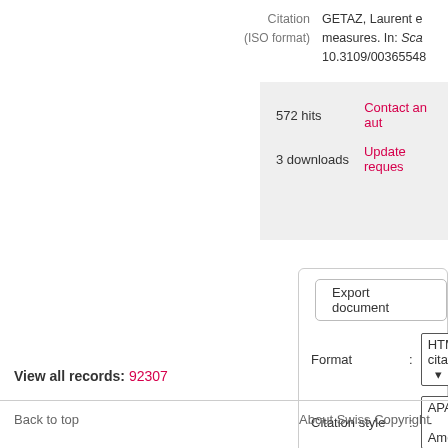Citation (ISO format): GETAZ, Laurent e... measures. In: Sca... 10.3109/00365548...
572 hits
Contact an aut...
3 downloads
Update reques...
Export document
Format : HTML citation
Citation style : APA 6th - America...
Send
View all records: 92307
Back to top
About Swiss Copyright